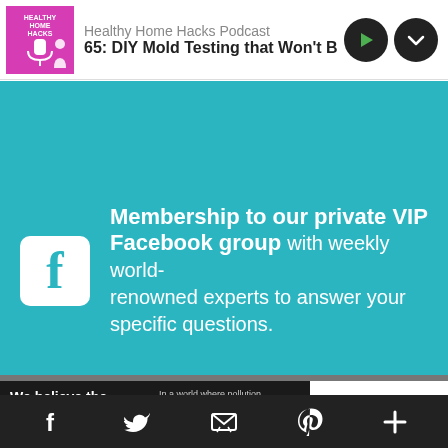[Figure (screenshot): Podcast player bar showing Healthy Home Hacks Podcast thumbnail, title '65: DIY Mold Testing that Won't B', play button and download button]
[Figure (infographic): Teal background panel with Facebook icon and text: 'Membership to our private VIP Facebook group with weekly world-renowned experts to answer your specific questions.']
[Figure (infographic): Advertisement banner: 'We believe the global pollution crisis can be solved.' with Pure Earth logo]
[Figure (infographic): Social media footer bar with Facebook, Twitter, email, Pinterest, and plus icons on dark background]